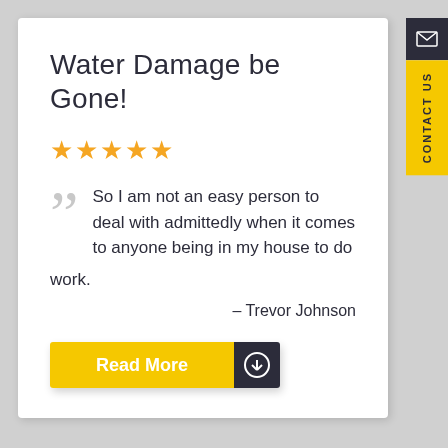Water Damage be Gone!
★★★★★
So I am not an easy person to deal with admittedly when it comes to anyone being in my house to do work.
– Trevor Johnson
Read More